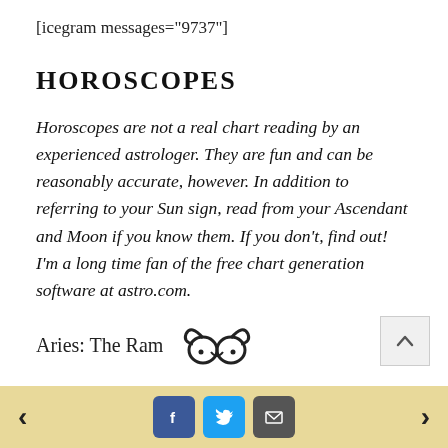[icegram messages="9737"]
HOROSCOPES
Horoscopes are not a real chart reading by an experienced astrologer. They are fun and can be reasonably accurate, however. In addition to referring to your Sun sign, read from your Ascendant and Moon if you know them. If you don't, find out! I'm a long time fan of the free chart generation software at astro.com.
Aries: The Ram
[Figure (illustration): Aries zodiac ram icon/symbol]
< f t [email] >